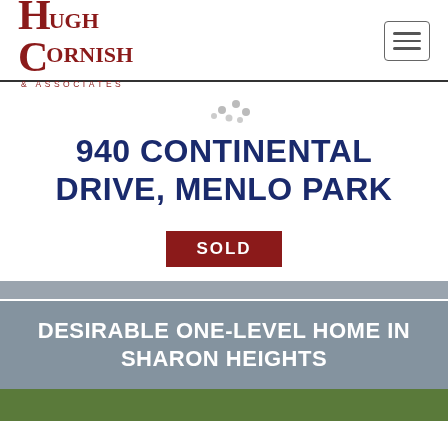Hugh Cornish & Associates
940 CONTINENTAL DRIVE, MENLO PARK
SOLD
[Figure (photo): Exterior photo of property at 940 Continental Drive, Menlo Park, showing trees and grey sky background with subtitle overlay 'DESIRABLE ONE-LEVEL HOME IN SHARON HEIGHTS']